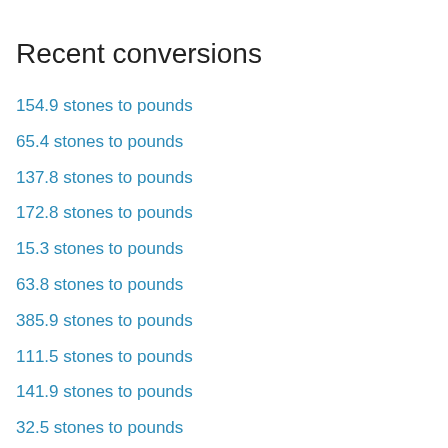Recent conversions
154.9 stones to pounds
65.4 stones to pounds
137.8 stones to pounds
172.8 stones to pounds
15.3 stones to pounds
63.8 stones to pounds
385.9 stones to pounds
111.5 stones to pounds
141.9 stones to pounds
32.5 stones to pounds